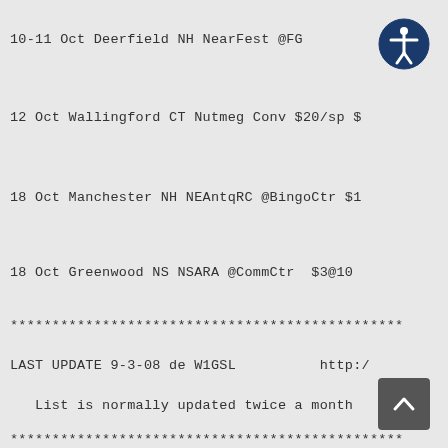10-11 Oct Deerfield NH NearFest @FG
12 Oct Wallingford CT Nutmeg Conv $20/sp $
18 Oct Manchester NH NEAntqRC @BingoCtr $1
18 Oct Greenwood NS NSARA @CommCtr  $3@10
***********************************************
LAST UPDATE 9-3-08 de W1GSL          http:/
List is normally updated twice a month
***********************************************